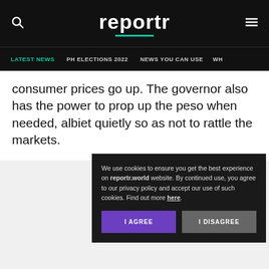reportr
LATEST NEWS | PH ELECTIONS 2022 | NEWS YOU CAN USE
consumer prices go up. The governor also has the power to prop up the peso when needed, albiet quietly so as not to rattle the markets.
We use cookies to ensure you get the best experience on reportr.world website. By continued use, you agree to our privacy policy and accept our use of such cookies. Find out more here.